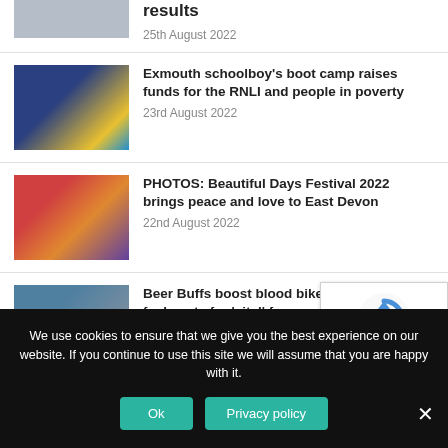[Figure (photo): Partial news thumbnail showing group of people outdoors]
results
25th August 2022
[Figure (photo): People holding RNLI flag in rain with umbrellas]
Exmouth schoolboy's boot camp raises funds for the RNLI and people in poverty
23rd August 2022
[Figure (photo): Group of people at Beautiful Days Festival 2022]
PHOTOS: Beautiful Days Festival 2022 brings peace and love to East Devon
22nd August 2022
[Figure (photo): Beer Buffs event with charity fundraisers]
Beer Buffs boost blood bikes as charity's fuel costs for 'vital' free service soars to £1,000 a week
We use cookies to ensure that we give you the best experience on our website. If you continue to use this site we will assume that you are happy with it.